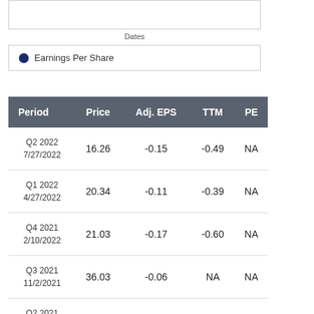[Figure (other): Partial chart area at top of page (cropped), showing a line/area chart with Dates on x-axis]
Dates
Earnings Per Share
| Period | Price | Adj. EPS | TTM | PE |
| --- | --- | --- | --- | --- |
| Q2 2022
7/27/2022 | 16.26 | -0.15 | -0.49 | NA |
| Q1 2022
4/27/2022 | 20.34 | -0.11 | -0.39 | NA |
| Q4 2021
2/10/2022 | 21.03 | -0.17 | -0.60 | NA |
| Q3 2021
11/2/2021 | 36.03 | -0.06 | NA | NA |
| Q2 2021
8/3/2021 | 35.68 | -0.05 | NA | NA |